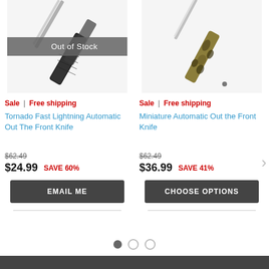[Figure (photo): Dark tactical automatic knife with textured handle, Out of Stock overlay]
[Figure (photo): Miniature automatic knife with camouflage/tortoise shell handle]
Sale | Free shipping
Sale | Free shipping
Tornado Fast Lightning Automatic Out The Front Knife
Miniature Automatic Out the Front Knife
$62.49
$24.99  SAVE 60%
$62.49
$36.99  SAVE 41%
EMAIL ME
CHOOSE OPTIONS